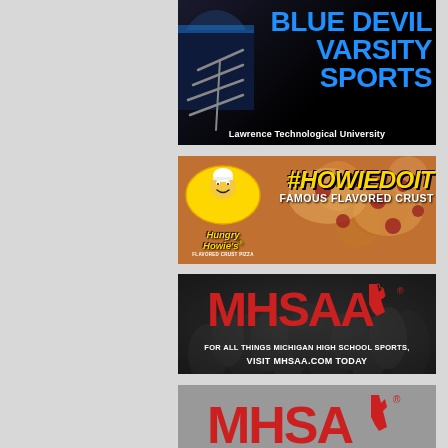[Figure (illustration): Blue Devil Varsity Sports banner for Lawrence Technological University. Dark background with athlete wearing blue helmet/facemask. Large blue text reads BLUE DEVIL VARSITY SPORTS with white text Lawrence Technological University below.]
[Figure (illustration): Hungry Howie's pizza advertisement. Close-up of pepperoni pizza background. Hungry Howie's yellow logo on left. Large yellow italic text #HOWIEDOIT with white text FAMOUS FLAVORED CRUST on right.]
[Figure (illustration): MHSAA advertisement banner. Dark background with crowd of athletes. Red MHSAA logo with Michigan mitten. White text: FOR ALL THINGS MICHIGAN HIGH SCHOOL SPORTS, VISIT MHSAA.COM TODAY]
[Figure (illustration): Partial MHSAA advertisement banner. Gray background with red MHSAA logo visible at bottom of page.]